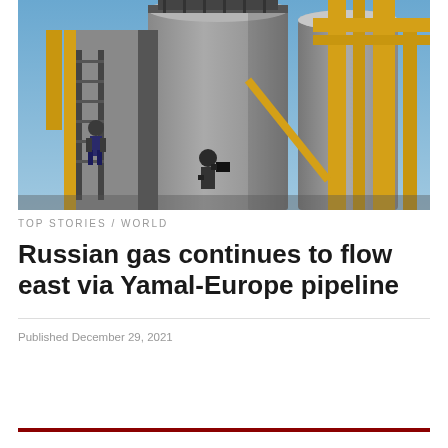[Figure (photo): Industrial gas facility with large grey cylindrical tanks, yellow pipes and walkways, two workers visible on the structure against a blue sky background.]
TOP STORIES / WORLD
Russian gas continues to flow east via Yamal-Europe pipeline
Published December 29, 2021